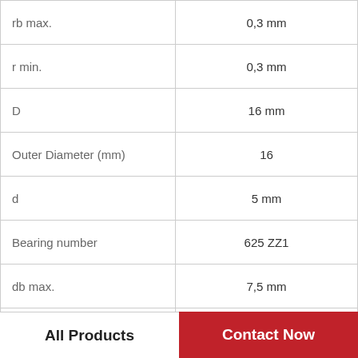| Parameter | Value |
| --- | --- |
| rb max. | 0,3 mm |
| r min. | 0,3 mm |
| D | 16 mm |
| Outer Diameter (mm) | 16 |
| d | 5 mm |
| Bearing number | 625 ZZ1 |
| db max. | 7,5 mm |
| Size (mm) | 5x16x5 |
| Weight | 0,00486 Kg |
[Figure (logo): WhatsApp green logo icon with phone symbol, with text 'WhatsApp Online' below in bold italic]
All Products    Contact Now